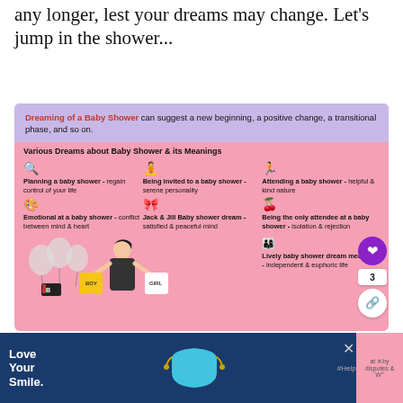any longer, lest your dreams may change. Let's jump in the shower...
[Figure (infographic): Infographic about dreaming of a baby shower and its various meanings. Top purple section explains dreaming of a baby shower can suggest a new beginning, a positive change, a transitional phase, and so on. Pink body shows 6 dream scenarios: Planning a baby shower - regain control of your life; Being invited to a baby shower - serene personality; Attending a baby shower - helpful & kind nature; Emotional at a baby shower - conflict between mind & heart; Jack & Jill Baby shower dream - satisfied & peaceful mind; Being the only attendee at a baby shower - isolation & rejection. Bottom includes illustration of woman holding baby clothes (BOY/GIRL) and Lively baby shower dream meaning - independent & euphoric life.]
Love Your Smile. #HelpByDesign advertisement banner